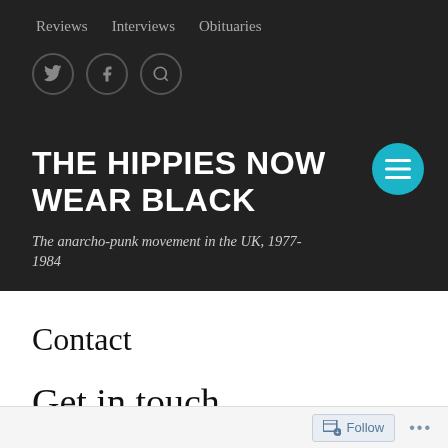Reviews   Interviews   Obituaries
[Figure (other): Social media icons: Twitter bird, Facebook f, and Search magnifying glass, each inside a circle]
THE HIPPIES NOW WEAR BLACK
The anarcho-punk movement in the UK, 1977-1984
Contact
Get in touch
Follow   ...